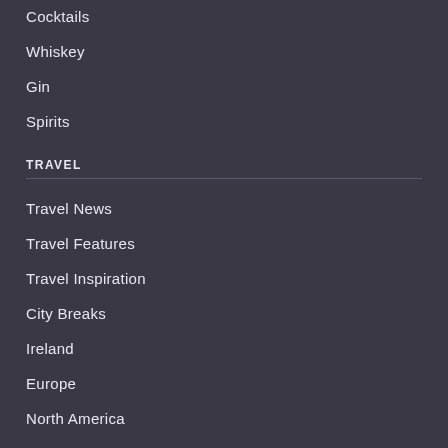Cocktails
Whiskey
Gin
Spirits
TRAVEL
Travel News
Travel Features
Travel Inspiration
City Breaks
Ireland
Europe
North America
South America
Asia & Beyond